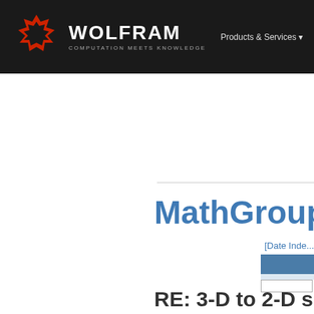WOLFRAM COMPUTATION MEETS KNOWLEDGE | Products & Services
[Figure (logo): Wolfram logo with red snowflake icon and white WOLFRAM text, tagline COMPUTATION MEETS KNOWLEDGE]
MathGroup Archive
[Date Inde...
RE: 3-D to 2-D slice n
To: mathgroup at smc.vnet.net
Subject: [mg14237] RE: [mg14198] 3-D to
From: "Ersek, Ted R" <ErsekTR at naval n